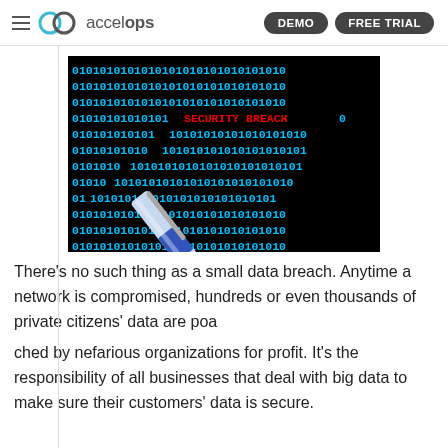accelops — DEMO | FREE TRIAL
[Figure (illustration): A binary code background (0s and 1s in cyan on black) with the text 'SECURITY BREACH' in red, and a blue-and-silver pen/stylus in the foreground.]
There’s no such thing as a small data breach. Anytime a network is compromised, hundreds or even thousands of private citizens’ data are poached by nefarious organizations for profit. It’s the responsibility of all businesses that deal with big data to make sure their customers’ data is secure.